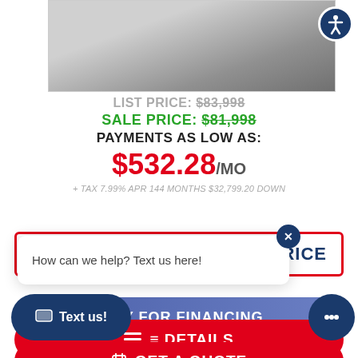[Figure (photo): Partial front view of a white RV/motorhome on a gray parking lot surface]
LIST PRICE: $83,998
SALE PRICE: $81,998
PAYMENTS AS LOW AS:
$532.28/MO
+ TAX 7.99% APR 144 MONTHS $32,799.20 DOWN
How can we help? Text us here!
PRICE
PPLY FOR FINANCING
Text us!
≡ DETAILS
GET A QUOTE